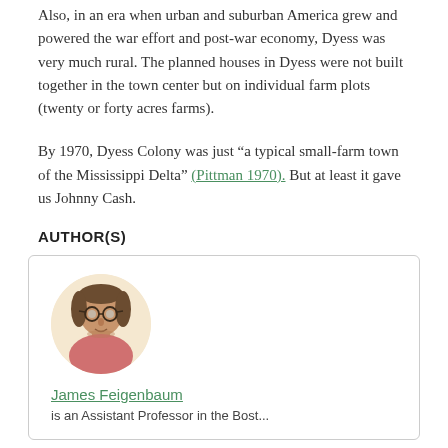Also, in an era when urban and suburban America grew and powered the war effort and post-war economy, Dyess was very much rural. The planned houses in Dyess were not built together in the town center but on individual farm plots (twenty or forty acres farms).
By 1970, Dyess Colony was just “a typical small-farm town of the Mississippi Delta” (Pittman 1970). But at least it gave us Johnny Cash.
AUTHOR(S)
[Figure (photo): Circular headshot photo of James Feigenbaum, a man wearing glasses]
James Feigenbaum
is an Assistant Professor in the Bost...